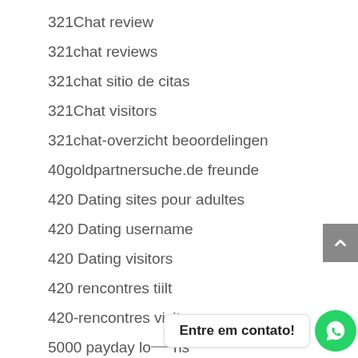321Chat review
321chat reviews
321chat sitio de citas
321Chat visitors
321chat-overzicht beoordelingen
40goldpartnersuche.de freunde
420 Dating sites pour adultes
420 Dating username
420 Dating visitors
420 rencontres tiilt
420-rencontres visitors
5000 payday loans
abdlmatch Chiacchierare